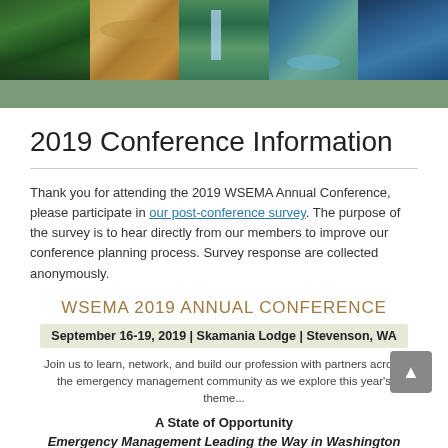[Figure (photo): Header banner with four nature photos: forest/river, aerial sand dunes, waterfall and green landscape, aerial river view, and dark blue aerial view]
2019 Conference Information
Thank you for attending the 2019 WSEMA Annual Conference, please participate in our post-conference survey. The purpose of the survey is to hear directly from our members to improve our conference planning process. Survey response are collected anonymously.
WSEMA 2019 ANNUAL CONFERENCE
September 16-19, 2019  |  Skamania Lodge  |  Stevenson, WA
Join us to learn, network, and build our profession with partners across the emergency management community as we explore this year's theme...
A State of Opportunity
Emergency Management Leading the Way in Washington State